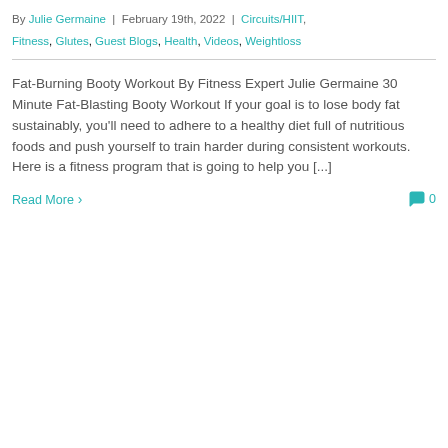By Julie Germaine | February 19th, 2022 | Circuits/HIIT, Fitness, Glutes, Guest Blogs, Health, Videos, Weightloss
Fat-Burning Booty Workout By Fitness Expert Julie Germaine 30 Minute Fat-Blasting Booty Workout If your goal is to lose body fat sustainably, you'll need to adhere to a healthy diet full of nutritious foods and push yourself to train harder during consistent workouts. Here is a fitness program that is going to help you [...]
Read More
0